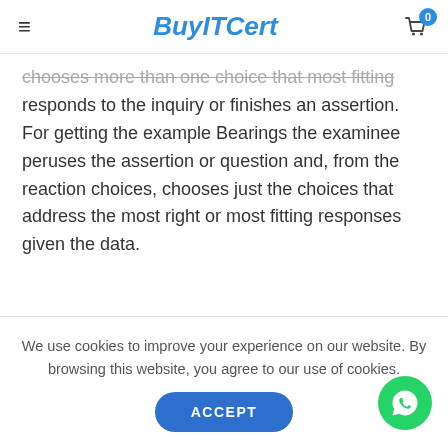BuyITCert
chooses more than one choice that most fitting responds to the inquiry or finishes an assertion. For getting the example Bearings the examinee peruses the assertion or question and, from the reaction choices, chooses just the choices that address the most right or most fitting responses given the data.
We use cookies to improve your experience on our website. By browsing this website, you agree to our use of cookies.